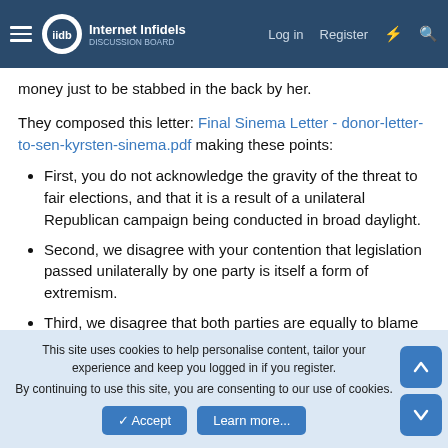Internet Infidels — Log in  Register
money just to be stabbed in the back by her.
They composed this letter: Final Sinema Letter - donor-letter-to-sen-kyrsten-sinema.pdf making these points:
First, you do not acknowledge the gravity of the threat to fair elections, and that it is a result of a unilateral Republican campaign being conducted in broad daylight.
Second, we disagree with your contention that legislation passed unilaterally by one party is itself a form of extremism.
Third, we disagree that both parties are equally to blame for the present failure to find compromise on the voting bills, and that Democratic leadership did not try hard enough to forge consensus with Republicans.
This site uses cookies to help personalise content, tailor your experience and keep you logged in if you register. By continuing to use this site, you are consenting to our use of cookies.  Accept  Learn more...